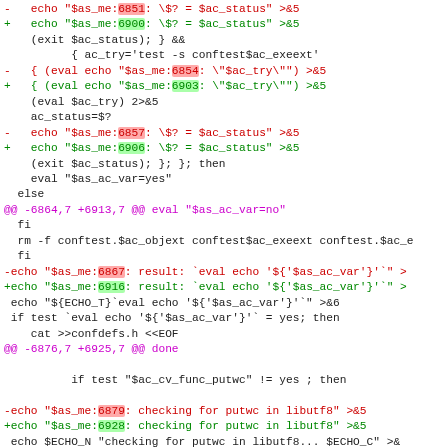diff/patch code showing shell script lines with red/green diffs and magenta hunk headers